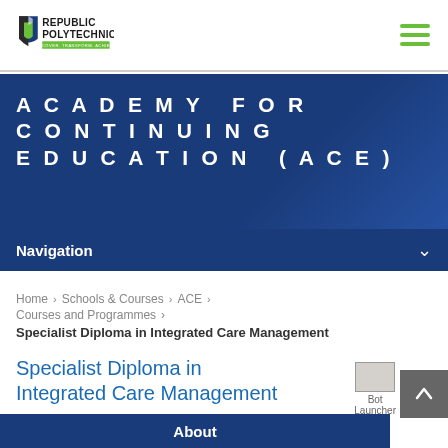[Figure (logo): Republic Polytechnic logo with shield emblem and tagline DISCOVER. TRANSFORM. ACHIEVE.]
ACADEMY FOR CONTINUING EDUCATION (ACE)
Navigation
Home › Schools & Courses › ACE › Courses and Programmes › Specialist Diploma in Integrated Care Management
Specialist Diploma in Integrated Care Management
About